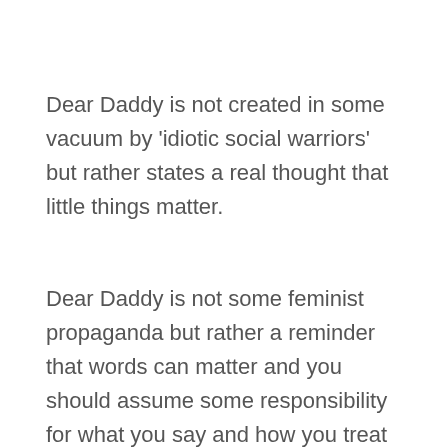Dear Daddy is not created in some vacuum by 'idiotic social warriors' but rather states a real thought that little things matter.
Dear Daddy is not some feminist propaganda but rather a reminder that words can matter and you should assume some responsibility for what you say and how you treat others… not just girls &